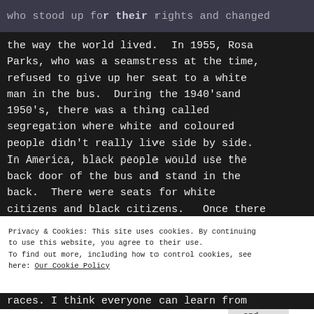who stood up for their rights and changed
the way the world lived. In 1955, Rosa Parks, who was a seamstress at the time, refused to give up her seat to a white man in the bus. During the 1940'sand 1950's, there was a thing called segregation where white and coloured people didn't really live side by side. In America, black people would use the back door of the bus and stand in the back. There were seats for white citizens and black citizens.  Once there
Privacy & Cookies: This site uses cookies. By continuing to use this website, you agree to their use.
To find out more, including how to control cookies, see here: Our Cookie Policy
Close and accept
races. I think everyone can learn from